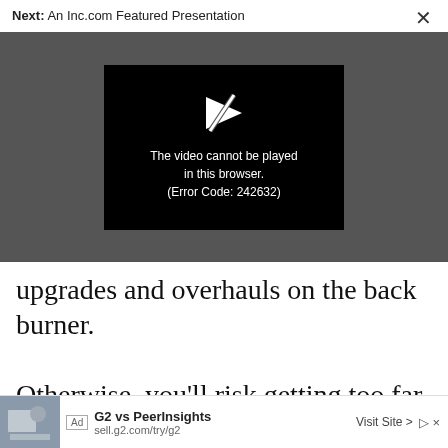Next: An Inc.com Featured Presentation
[Figure (screenshot): Video player showing error message: 'The video cannot be played in this browser. (Error Code: 242632)' on a dark gray background with black error box and white play icon with slash through it.]
upgrades and overhauls on the back burner. Otherwise, you'll risk getting too far behind your competition, as well as potentially losin
[Figure (screenshot): Ad banner: 'G2 vs PeerInsights' with URL sell.g2.com/try/g2 and 'Visit Site >' button, with ad tag and small thumbnail image.]